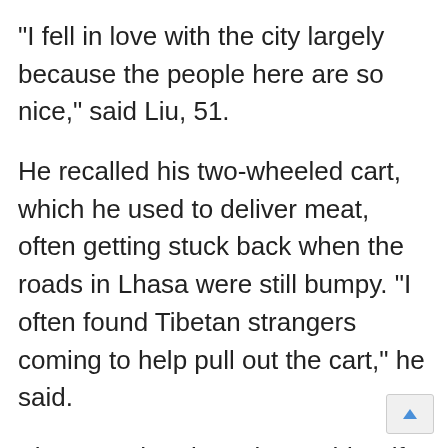"I fell in love with the city largely because the people here are so nice," said Liu, 51.
He recalled his two-wheeled cart, which he used to deliver meat, often getting stuck back when the roads in Lhasa were still bumpy. "I often found Tibetan strangers coming to help pull out the cart," he said.
Via a matchmaker, Liu met his wife, a Tibetan from Sichuan Province. Now, the couple has bought a villa with six bedrooms in Lhasa. When the family leaves for vacation, they will leave